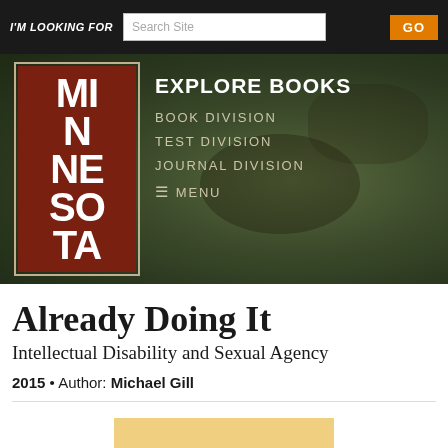I'M LOOKING FOR   Search Site   GO
[Figure (screenshot): University of Minnesota Press website navigation banner with logo showing 'MINNESOTA' in white text on brown background, green nature background, and navigation links: EXPLORE BOOKS, BOOK DIVISION, TEST DIVISION, JOURNAL DIVISION, MENU]
Already Doing It
Intellectual Disability and Sexual Agency
2015 • Author: Michael Gill
[Figure (other): Yellow/tan colored partial book cover image at bottom of page]